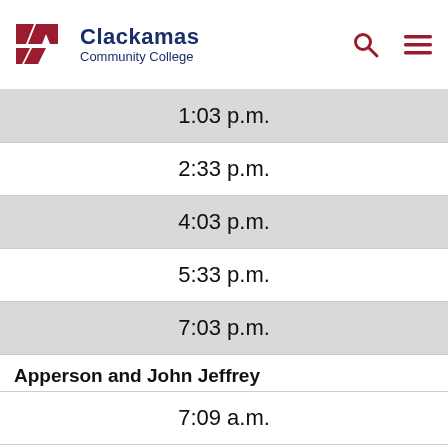Clackamas Community College
1:03 p.m.
2:33 p.m.
4:03 p.m.
5:33 p.m.
7:03 p.m.
Apperson and John Jeffrey
7:09 a.m.
8:39 a.m.